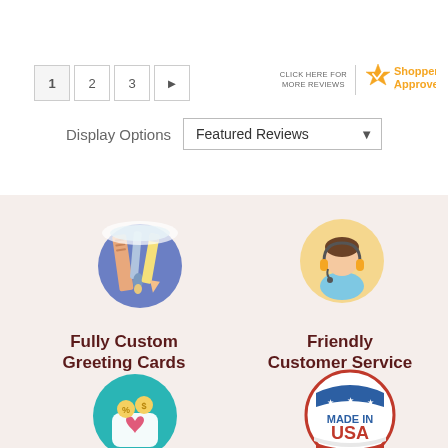[Figure (infographic): Pagination controls: buttons 1, 2, 3, and a right arrow]
[Figure (logo): Shopper Approved logo with star and text 'CLICK HERE FOR MORE REVIEWS']
Display Options    Featured Reviews ▾
[Figure (illustration): Circular icon of art supplies (ruler, paintbrush, pencil) on blue/purple background]
Fully Custom
Greeting Cards
[Figure (illustration): Circular icon of customer service representative with headset on yellow background]
Friendly
Customer Service
[Figure (illustration): Circular teal icon with discount/savings bag showing percent sign and coins]
[Figure (illustration): Circular badge reading MADE IN USA with stars and stripes]